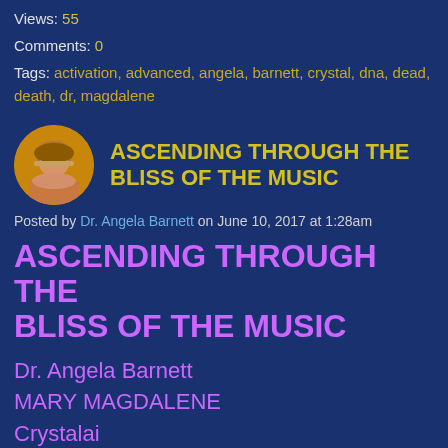Views: 55
Comments: 0
Tags: activation, advanced, angela, barnett, crystal, dna, dead, death, dr, magdalene
[Figure (photo): Circular avatar photo of a woman with blonde hair on dark blue background]
ASCENDING THROUGH THE BLISS OF THE MUSIC
Posted by Dr. Angela Barnett on June 10, 2017 at 1:28am
ASCENDING THROUGH THE BLISS OF THE MUSIC
Dr. Angela Barnett
MARY MAGDALENE
Crystalai
Joe Barnett
https://crystalmagicorchestra.com